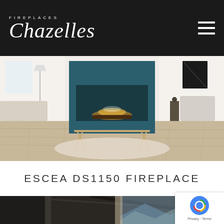Fireplaces Chazelles
[Figure (photo): Interior living room with a modern see-through gas fireplace embedded in a teal/dark blue surround wall, with light wood floors and minimalist furniture including a coffee table]
ESCEA DS1150 FIREPLACE
[Figure (photo): Modern dark interior room with floor-to-ceiling windows overlooking a mountain landscape, partial view of contemporary living space]
[Figure (logo): Google reCAPTCHA badge with Privacy and Terms links]